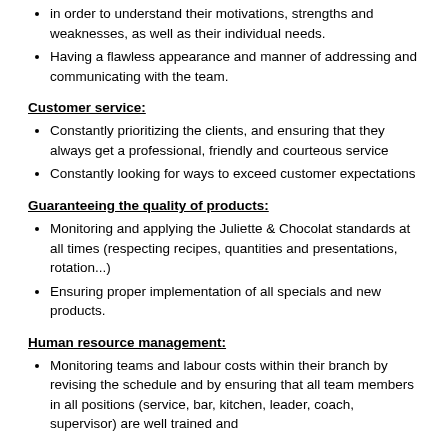in order to understand their motivations, strengths and weaknesses, as well as their individual needs.
Having a flawless appearance and manner of addressing and communicating with the team.
Customer service:
Constantly prioritizing the clients, and ensuring that they always get a professional, friendly and courteous service
Constantly looking for ways to exceed customer expectations
Guaranteeing the quality of products:
Monitoring and applying the Juliette & Chocolat standards at all times (respecting recipes, quantities and presentations, rotation...)
Ensuring proper implementation of all specials and new products.
Human resource management:
Monitoring teams and labour costs within their branch by revising the schedule and by ensuring that all team members in all positions (service, bar, kitchen, leader, coach, supervisor) are well trained and